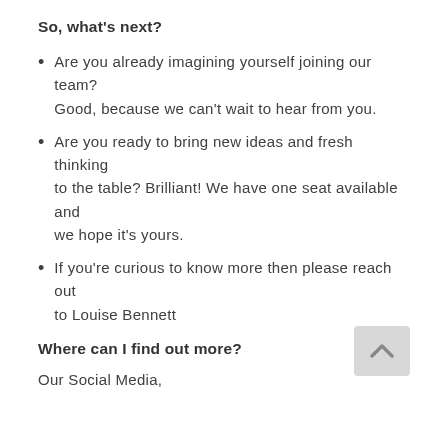So, what’s next?
Are you already imagining yourself joining our team? Good, because we can’t wait to hear from you.
Are you ready to bring new ideas and fresh thinking to the table? Brilliant! We have one seat available and we hope it’s yours.
If you’re curious to know more then please reach out to Louise Bennett
Where can I find out more?
Our Social Media,